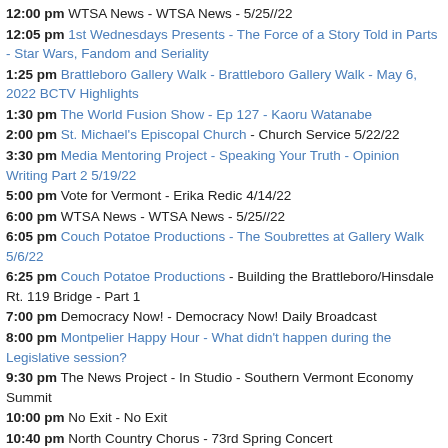12:00 pm WTSA News - WTSA News - 5/25//22
12:05 pm 1st Wednesdays Presents - The Force of a Story Told in Parts - Star Wars, Fandom and Seriality
1:25 pm Brattleboro Gallery Walk - Brattleboro Gallery Walk - May 6, 2022 BCTV Highlights
1:30 pm The World Fusion Show - Ep 127 - Kaoru Watanabe
2:00 pm St. Michael's Episcopal Church - Church Service 5/22/22
3:30 pm Media Mentoring Project - Speaking Your Truth - Opinion Writing Part 2 5/19/22
5:00 pm Vote for Vermont - Erika Redic 4/14/22
6:00 pm WTSA News - WTSA News - 5/25//22
6:05 pm Couch Potatoe Productions - The Soubrettes at Gallery Walk 5/6/22
6:25 pm Couch Potatoe Productions - Building the Brattleboro/Hinsdale Rt. 119 Bridge - Part 1
7:00 pm Democracy Now! - Democracy Now! Daily Broadcast
8:00 pm Montpelier Happy Hour - What didn't happen during the Legislative session?
9:30 pm The News Project - In Studio - Southern Vermont Economy Summit
10:00 pm No Exit - No Exit
10:40 pm North Country Chorus - 73rd Spring Concert
12:05 am Tuesday Talks - Life in a Jar - The Irena Sendler Project